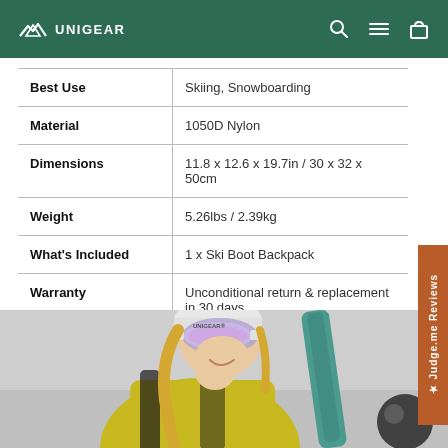UNIGEAR
| Attribute | Value |
| --- | --- |
| Best Use | Skiing, Snowboarding |
| Material | 1050D Nylon |
| Dimensions | 11.8 x 12.6 x 19.7in / 30 x 32 x 50cm |
| Weight | 5.26lbs / 2.39kg |
| What's Included | 1 x Ski Boot Backpack |
| Warranty | Unconditional return & replacement in 30 days |
[Figure (photo): Woman in yellow jacket and white beanie with ski goggles, smiling, holding a snowboard, wearing a backpack — outdoor winter scene with gray sky background]
★ Judge.me Reviews